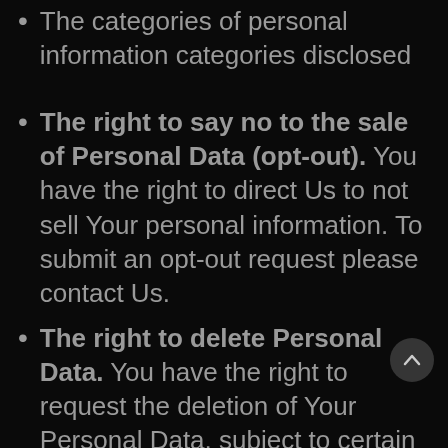The categories of personal information categories disclosed
The right to say no to the sale of Personal Data (opt-out). You have the right to direct Us to not sell Your personal information. To submit an opt-out request please contact Us.
The right to delete Personal Data. You have the right to request the deletion of Your Personal Data, subject to certain exceptions. Once We receive and confirm Your request, We will delete (and direct Our Service Providers to delete) Your personal information from our records, unless an exception applies. We may deny Your deletion request if retaining the